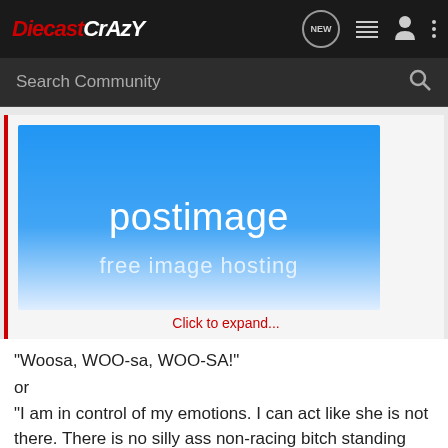DiecastCrazy — navigation bar with logo, NEW, list, person, and dots icons
Search Community
[Figure (screenshot): Postimage free image hosting advertisement banner — blue gradient background with 'postimage' and 'free image hosting' text]
Click to expand...
"Woosa, WOO-sa, WOO-SA!"
or
"I am in control of my emotions. I can act like she is not there. There is no silly ass non-racing bitch standing next to me smiling at the camera. I am in control of my emotions."